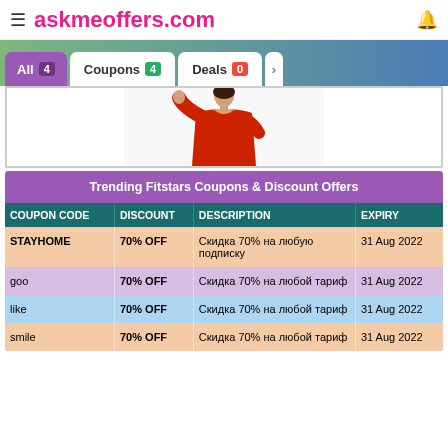askmeoffers.com
All 4   Coupons 4   Deals 0
[Figure (photo): Woman wearing red dress, upper body visible]
| COUPON CODE | DISCOUNT | DESCRIPTION | EXPIRY |
| --- | --- | --- | --- |
| STAYHOME | 70% OFF | Скидка 70% на любую подписку | 31 Aug 2022 |
| goo | 70% OFF | Скидка 70% на любой тариф | 31 Aug 2022 |
| like | 70% OFF | Скидка 70% на любой тариф | 31 Aug 2022 |
| smile | 70% OFF | Скидка 70% на любой тариф | 31 Aug 2022 |